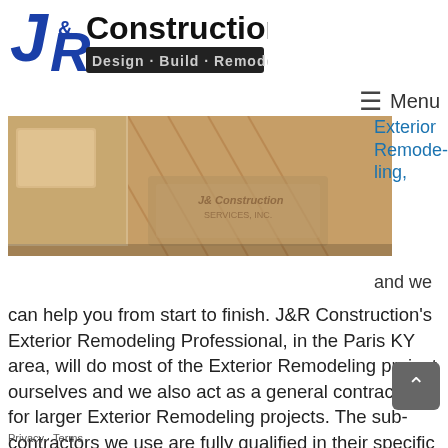[Figure (logo): J&R Construction Design-Build-Remodel logo with blue J and R letters]
≡ Menu
[Figure (photo): Interior photo showing hardwood floor with decorative inlay and light wood cabinetry, with J&R Construction watermark]
Exterior Remodeling,
and we can help you from start to finish. J&R Construction's Exterior Remodeling Professional, in the Paris KY area, will do most of the Exterior Remodeling project ourselves and we also act as a general contractor for larger Exterior Remodeling projects. The sub-contractors we use are fully qualified in their specific fields to complete your project to meet all state and local building codes.
Privacy · Terms